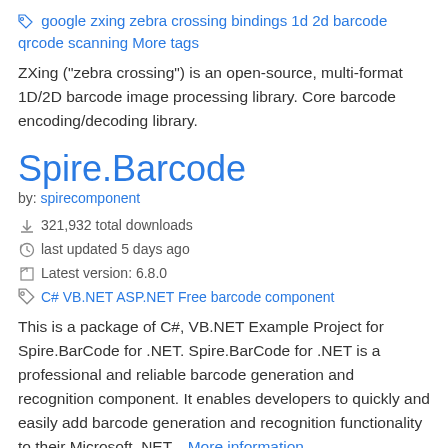🏷 google zxing zebra crossing bindings 1d 2d barcode qrcode scanning More tags
ZXing ("zebra crossing") is an open-source, multi-format 1D/2D barcode image processing library. Core barcode encoding/decoding library.
Spire.Barcode
by: spirecomponent
321,932 total downloads
last updated 5 days ago
Latest version: 6.8.0
C# VB.NET ASP.NET Free barcode component
This is a package of C#, VB.NET Example Project for Spire.BarCode for .NET. Spire.BarCode for .NET is a professional and reliable barcode generation and recognition component. It enables developers to quickly and easily add barcode generation and recognition functionality to their Microsoft .NET... More information
Spire.Go.Net...